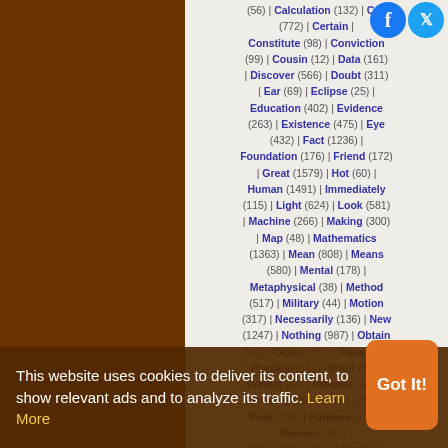(56) | Calculation (132) | Call (772) | Certain | Constitute (98) | Conviction (99) | Cousin (12) | Data (161) | Discover (566) | Doubt (311) | Ear (69) | Eclipse (25) | Education (402) | Evidence (263) | Existence (475) | Eye (432) | Fact (1236) | Foundation (176) | Friend (172) | Great (1579) | Hot (60) | Human (1491) | Immediately (115) | Light (624) | Look (581) | Machine (266) | Making (300) | Map (48) | Mathematics (1363) | Mean (808) | Means (580) | Mental (178) | Metaphysical (38) | Method (517) | Military (44) | Motion (317) | Necessarily (136) | New (1247) | Nothing (987) | Obtain (163) | Occur (151) | Pass (238) | Physical (511) | Point (583) | Predict (84) | Process (430) | Prolong (29) | Prove (256) | Pure (295) | Purpose (324) | Reason (757) | Reasoning (211) | Reply | Rest | Right (459) | Say | See (1082) | Sense (776) | Separate (146) | Set (398) | Sight (134) | Sky (41)
This website uses cookies to deliver its content, to show relevant ads and to analyze its traffic. Learn More